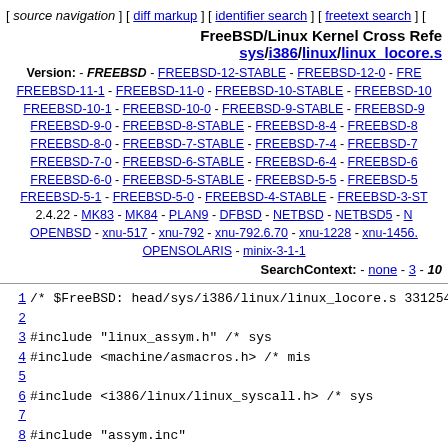[ source navigation ] [ diff markup ] [ identifier search ] [ freetext search ] [
FreeBSD/Linux Kernel Cross Reference sys/i386/linux/linux_locore.s
Version: - FREEBSD - FREEBSD-12-STABLE - FREEBSD-12-0 - FREEBSD-11-1 - FREEBSD-11-0 - FREEBSD-10-STABLE - FREEBSD-10-1 - FREEBSD-10-0 - FREEBSD-9-STABLE - FREEBSD-9-0 - FREEBSD-8-STABLE - FREEBSD-8-4 - FREEBSD-8-0 - FREEBSD-7-STABLE - FREEBSD-7-4 - FREEBSD-7-0 - FREEBSD-6-STABLE - FREEBSD-6-4 - FREEBSD-6-0 - FREEBSD-5-STABLE - FREEBSD-5-5 - FREEBSD-5-1 - FREEBSD-5-0 - FREEBSD-4-STABLE - FREEBSD-3-STABLE - 2.4.22 - MK83 - MK84 - PLAN9 - DFBSD - NETBSD - NETBSD5 - OPENBSD - xnu-517 - xnu-792 - xnu-792.6.70 - xnu-1228 - xnu-1456.1 - OPENSOLARIS - minix-3-1-1
SearchContext: - none - 3 - 10
1  /* $FreeBSD: head/sys/i386/linux/linux_locore.s 331254
2
3  #include "linux_assym.h"                              /* sys
4  #include <machine/asmacros.h>                        /* mis
5
6  #include <i386/linux/linux_syscall.h>               /* sys
7
8  #include "assym.inc"
9
10 /*
11  * To avoid excess stack frame the signal trampoline d